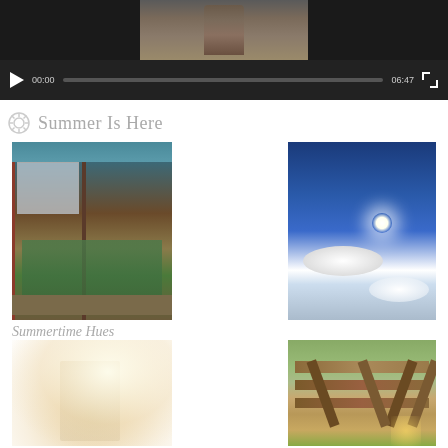[Figure (screenshot): Video player showing partial thumbnail of a person, with playback controls showing 00:00 current time and 06:47 total duration, play button, progress bar, and fullscreen button]
Summer Is Here
[Figure (photo): Photo of a garden center or greenhouse with plants on shelves, viewed through a doorway with colorful metal frame]
[Figure (photo): Photo of a vivid blue sky with bright sun and white fluffy clouds]
Summertime Hues
[Figure (photo): Misty or foggy light photo with warm golden-white tones, appears to show sunlight through haze]
[Figure (photo): Photo of a wooden picnic table/bench outdoors on green grass in sunlight]